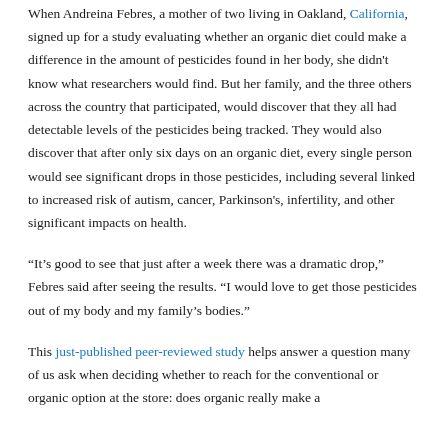When Andreina Febres, a mother of two living in Oakland, California, signed up for a study evaluating whether an organic diet could make a difference in the amount of pesticides found in her body, she didn't know what researchers would find. But her family, and the three others across the country that participated, would discover that they all had detectable levels of the pesticides being tracked. They would also discover that after only six days on an organic diet, every single person would see significant drops in those pesticides, including several linked to increased risk of autism, cancer, Parkinson's, infertility, and other significant impacts on health.
“It’s good to see that just after a week there was a dramatic drop,” Febres said after seeing the results. “I would love to get those pesticides out of my body and my family’s bodies.”
This just-published peer-reviewed study helps answer a question many of us ask when deciding whether to reach for the conventional or organic option at the store: does organic really make a